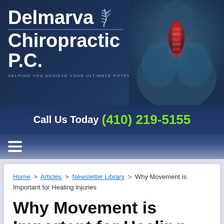[Figure (illustration): Delmarva Chiropractic P.C. website header banner with logo on left and a blue-toned medical illustration of a human spine/neck with red highlighted area on the right. Tagline reads HELPING YOU ACHIEVE YOUR ULTIMATE POTENTIAL.]
Call Us Today (410) 219-5155
[Figure (other): Navigation bar with hamburger menu icon (three horizontal white lines)]
Home > Articles > Newsletter Library > Why Movement is Important for Healing Injuries
Why Movement is Important for Healing Injuries
Created in Newsletter Library